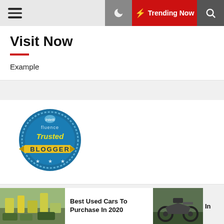☰  🌙  ⚡ Trending Now  🔍
Visit Now
Example
[Figure (logo): Intellifluence Trusted Blogger badge — circular blue badge with yellow ribbon and stars]
BL
Best Used Cars To Purchase In 2020